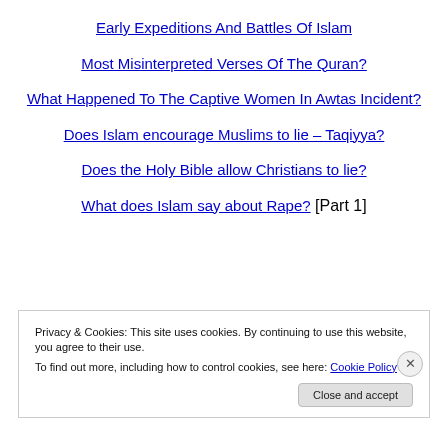Early Expeditions And Battles Of Islam
Most Misinterpreted Verses Of The Quran?
What Happened To The Captive Women In Awtas Incident?
Does Islam encourage Muslims to lie – Taqiyya?
Does the Holy Bible allow Christians to lie?
What does Islam say about Rape? [Part 1]
Privacy & Cookies: This site uses cookies. By continuing to use this website, you agree to their use. To find out more, including how to control cookies, see here: Cookie Policy